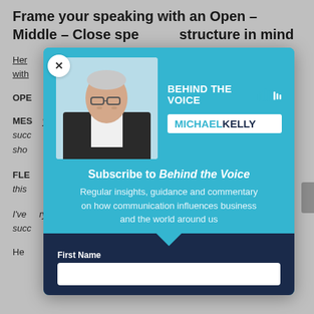Frame your speaking with an Open – Middle – Close speaking structure in mind
Here ... g with...
OPEN
MESSAGE ... y succ ... ve, I sho...
FLE... y this
I've ... ry succ ... re.
He...
[Figure (screenshot): Modal popup for 'Behind the Voice' podcast by Michael Kelly. Contains a photo of Michael Kelly (older man in suit), the 'BEHIND THE VOICE' logo with soundwave graphic, and MICHAEL KELLY branding. Below is text: 'Subscribe to Behind the Voice — Regular insights, guidance and commentary on how communication influences business and the world around us'. Dark navy bottom section with 'First Name' field label and white input box. Close button (X) in top-left corner.]